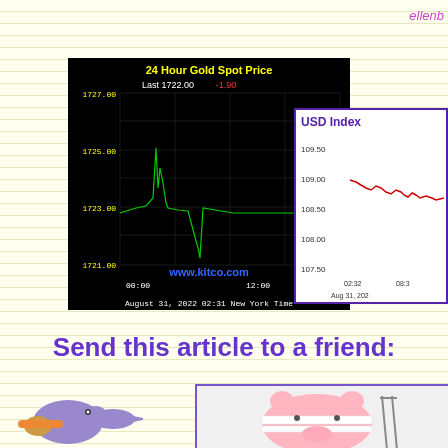ellenb
[Figure (continuous-plot): 24 Hour Gold Spot Price line chart showing price around 1721-1727, Last 1722.00 -1.90, August 31, 2022 02:31 New York Time, www.kitco.com]
[Figure (continuous-plot): USD Index chart showing values between 107.50 and 109.50, time range 02:32 to 08:3x, Aug 31, 202x]
Send this article to a friend:
[Figure (illustration): Small cartoon elephant/character pointing right]
[Figure (photo): Pink piggy bank wrapped in bandages with crutches]